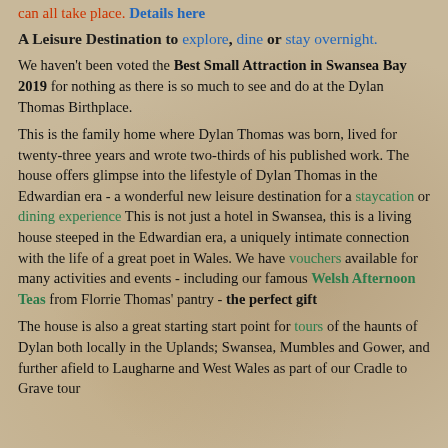can all take place. Details here
A Leisure Destination to explore, dine or stay overnight.
We haven't been voted the Best Small Attraction in Swansea Bay 2019 for nothing as there is so much to see and do at the Dylan Thomas Birthplace.
This is the family home where Dylan Thomas was born, lived for twenty-three years and wrote two-thirds of his published work. The house offers glimpse into the lifestyle of Dylan Thomas in the Edwardian era - a wonderful new leisure destination for a staycation or dining experience This is not just a hotel in Swansea, this is a living house steeped in the Edwardian era, a uniquely intimate connection with the life of a great poet in Wales. We have vouchers available for many activities and events - including our famous Welsh Afternoon Teas from Florrie Thomas' pantry - the perfect gift
The house is also a great starting start point for tours of the haunts of Dylan both locally in the Uplands; Swansea, Mumbles and Gower, and further afield to Laugharne and West Wales as part of our Cradle to Grave tour.